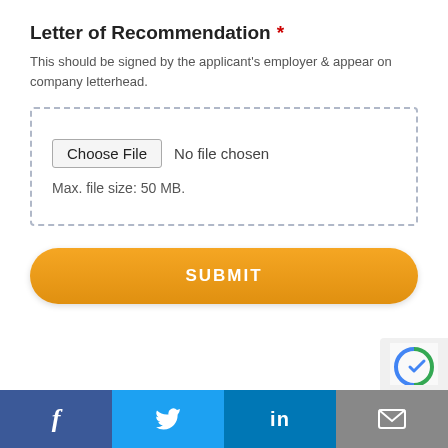Letter of Recommendation *
This should be signed by the applicant's employer & appear on company letterhead.
[Figure (screenshot): File upload widget with 'Choose File' button and 'No file chosen' text, plus 'Max. file size: 50 MB.' below, all inside a dashed border box.]
[Figure (screenshot): Orange rounded SUBMIT button]
Facebook | Twitter | LinkedIn | Email social share bar